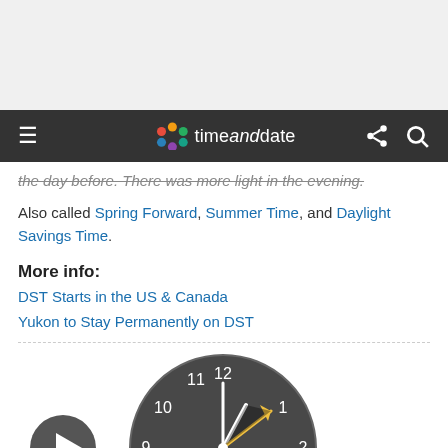timeanddate
the day before. There was more light in the evening.
Also called Spring Forward, Summer Time, and Daylight Savings Time.
More info:
DST Starts in the US & Canada
Yukon to Stay Permanently on DST
[Figure (illustration): Analog clock showing time at approximately 1:00 with hands pointing to 12 and 2, and a yellow arrow indicating spring forward. A play button icon is shown to the left.]